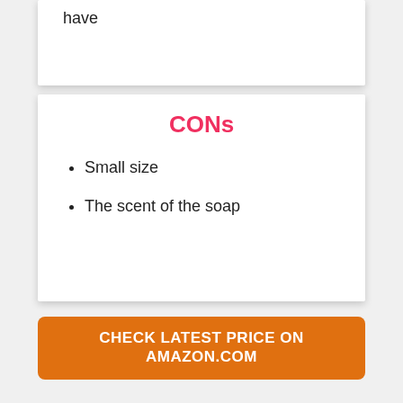have
CONs
Small size
The scent of the soap
CHECK LATEST PRICE ON AMAZON.COM